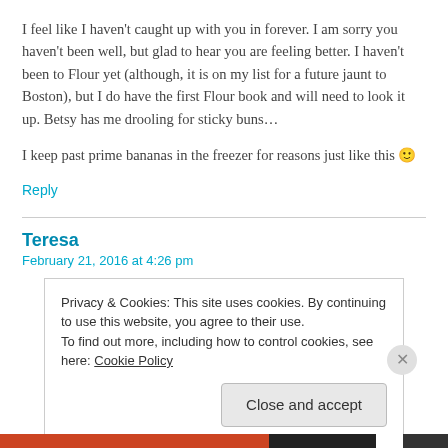I feel like I haven't caught up with you in forever. I am sorry you haven't been well, but glad to hear you are feeling better. I haven't been to Flour yet (although, it is on my list for a future jaunt to Boston), but I do have the first Flour book and will need to look it up. Betsy has me drooling for sticky buns…
I keep past prime bananas in the freezer for reasons just like this 🙂
Reply
Teresa
February 21, 2016 at 4:26 pm
Privacy & Cookies: This site uses cookies. By continuing to use this website, you agree to their use.
To find out more, including how to control cookies, see here: Cookie Policy
Close and accept